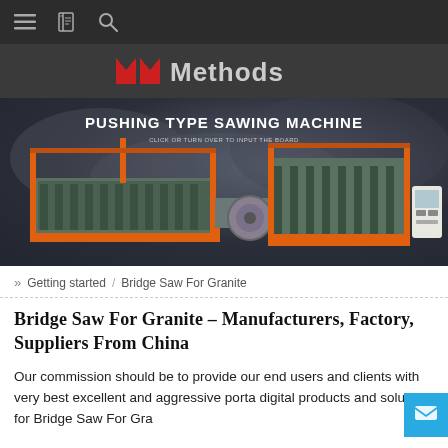Methods — navigation bar
[Figure (logo): Methods logo with red double-M mark and grey 'Methods' text on dark background]
[Figure (photo): Industrial Pushing Type Sawing Machine on dark moody background with orange and green metal frame machine]
» Getting started / Bridge Saw For Granite
Bridge Saw For Granite – Manufacturers, Factory, Suppliers From China
Our commission should be to provide our end users and clients with very best excellent and aggressive porta digital products and solutions for Bridge Saw For Gra